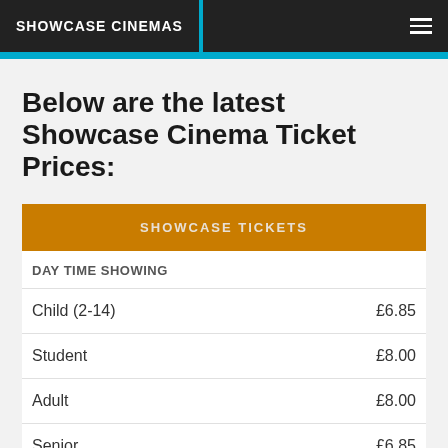SHOWCASE CINEMAS
Below are the latest Showcase Cinema Ticket Prices:
| SHOWCASE TICKETS |  |
| --- | --- |
| DAY TIME SHOWING |  |
| Child (2-14) | £6.85 |
| Student | £8.00 |
| Adult | £8.00 |
| Senior | £6.85 |